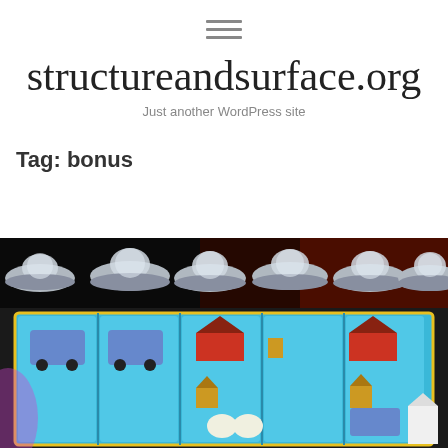≡ (hamburger menu icon)
structureandsurface.org
Just another WordPress site
Tag: bonus
[Figure (photo): Screenshot of a slot machine game featuring cartoon farm animals in flying saucers above reel symbols including a trailer, barn, birdhouse, and chickens on a blue background with black top area]